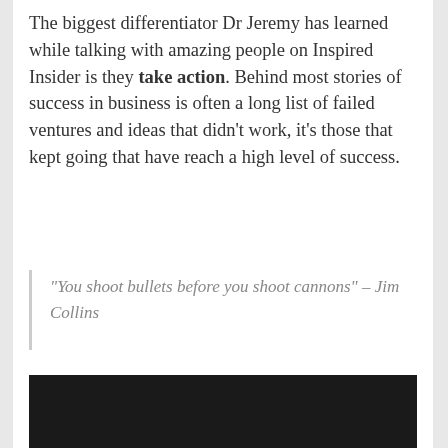The biggest differentiator Dr Jeremy has learned while talking with amazing people on Inspired Insider is they take action. Behind most stories of success in business is often a long list of failed ventures and ideas that didn't work, it's those that kept going that have reach a high level of success.
“You shoot bullets before you shoot cannons” – Jim Collins
[Figure (screenshot): Dark video player showing 'This video is private' message with an exclamation icon]